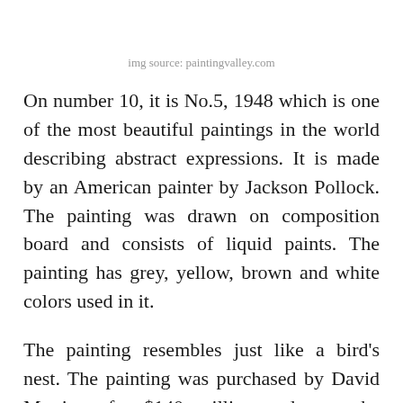img source: paintingvalley.com
On number 10, it is No.5, 1948 which is one of the most beautiful paintings in the world describing abstract expressions. It is made by an American painter by Jackson Pollock. The painting was drawn on composition board and consists of liquid paints. The painting has grey, yellow, brown and white colors used in it.
The painting resembles just like a bird's nest. The painting was purchased by David Martinez for $140 million and now the painting is worth $166.3 million currently. The description of this painting has been done in a song and